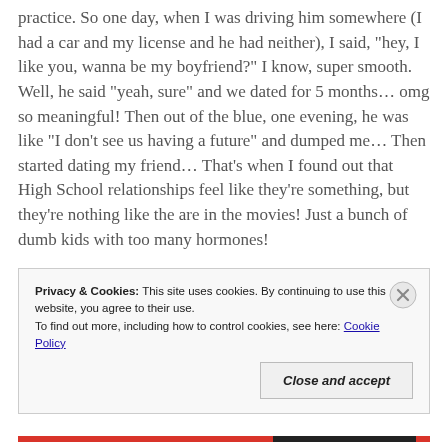practice. So one day, when I was driving him somewhere (I had a car and my license and he had neither), I said, "hey, I like you, wanna be my boyfriend?" I know, super smooth. Well, he said "yeah, sure" and we dated for 5 months… omg so meaningful! Then out of the blue, one evening, he was like "I don't see us having a future" and dumped me… Then started dating my friend… That's when I found out that High School relationships feel like they're something, but they're nothing like the are in the movies! Just a bunch of dumb kids with too many hormones!
Privacy & Cookies: This site uses cookies. By continuing to use this website, you agree to their use.
To find out more, including how to control cookies, see here: Cookie Policy